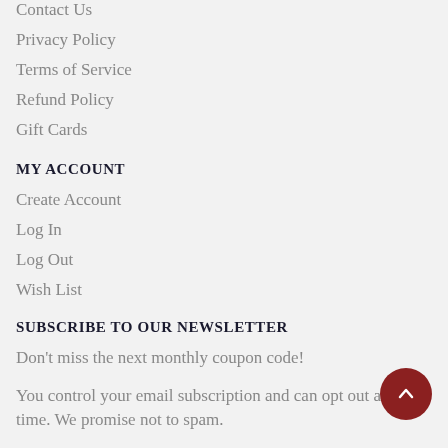Contact Us
Privacy Policy
Terms of Service
Refund Policy
Gift Cards
MY ACCOUNT
Create Account
Log In
Log Out
Wish List
SUBSCRIBE TO OUR NEWSLETTER
Don't miss the next monthly coupon code!
You control your email subscription and can opt out any time. We promise not to spam.